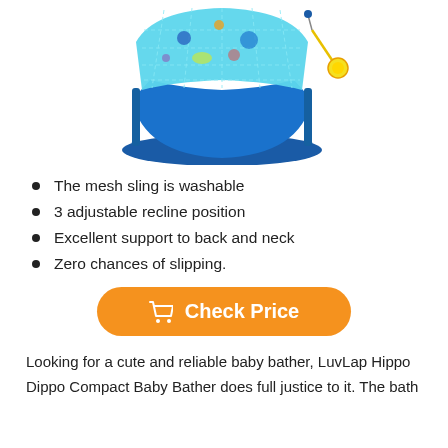[Figure (photo): LuvLap Hippo Dippo Compact Baby Bather product photo — a blue and teal mesh baby bath sling/bather on a dark blue plastic frame base, with colorful decorations and a yellow hanging toy on the right side.]
The mesh sling is washable
3 adjustable recline position
Excellent support to back and neck
Zero chances of slipping.
[Figure (other): Orange rounded rectangle button with shopping cart icon and text 'Check Price']
Looking for a cute and reliable baby bather, LuvLap Hippo Dippo Compact Baby Bather does full justice to it. The bath